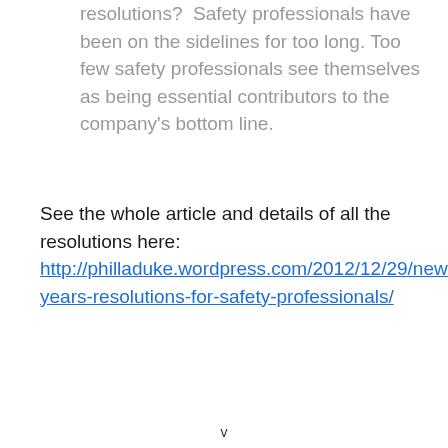resolutions?  Safety professionals have been on the sidelines for too long. Too few safety professionals see themselves as being essential contributors to the company's bottom line.
See the whole article and details of all the resolutions here:
http://philladuke.wordpress.com/2012/12/29/new-years-resolutions-for-safety-professionals/
v